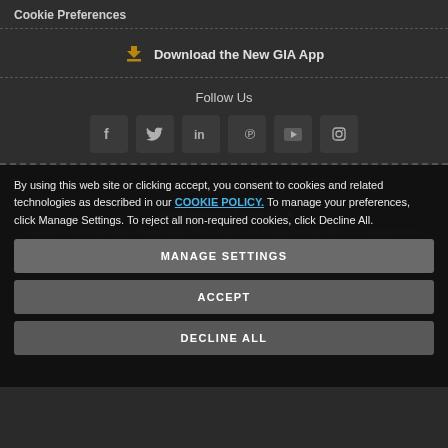Cookie Preferences
Download the New GIA App
Follow Us
[Figure (infographic): Row of six social media icon buttons: Facebook, Twitter, LinkedIn, Pinterest, YouTube, Instagram]
By using this web site or clicking accept, you consent to cookies and related technologies as described in our COOKIE POLICY. To manage your preferences, click Manage Settings. To reject all non-required cookies, click Decline All.
MANAGE SETTINGS
ACCEPT
DECLINE ALL
Change Language: English (UK)
Copyrights and Trademarks | Privacy Notice | Terms of Use | Link to GIA | Developer API | ... | Coverage Rule |
GIA ... All rights reserved.